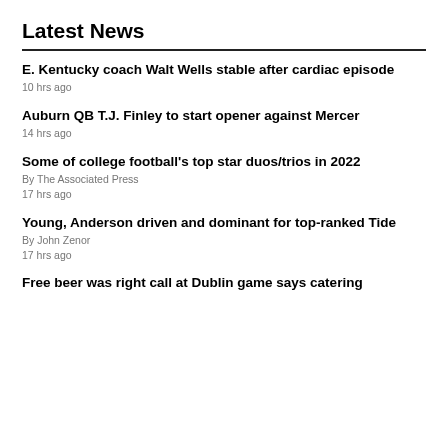Latest News
E. Kentucky coach Walt Wells stable after cardiac episode
10 hrs ago
Auburn QB T.J. Finley to start opener against Mercer
14 hrs ago
Some of college football's top star duos/trios in 2022
By The Associated Press
17 hrs ago
Young, Anderson driven and dominant for top-ranked Tide
By John Zenor
17 hrs ago
Free beer was right call at Dublin game says catering